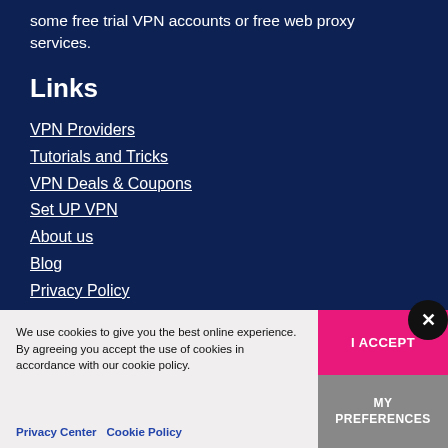some free trial VPN accounts or free web proxy services.
Links
VPN Providers
Tutorials and Tricks
VPN Deals & Coupons
Set UP VPN
About us
Blog
Privacy Policy
Contact
We use cookies to give you the best online experience. By agreeing you accept the use of cookies in accordance with our cookie policy.
Privacy Center   Cookie Policy